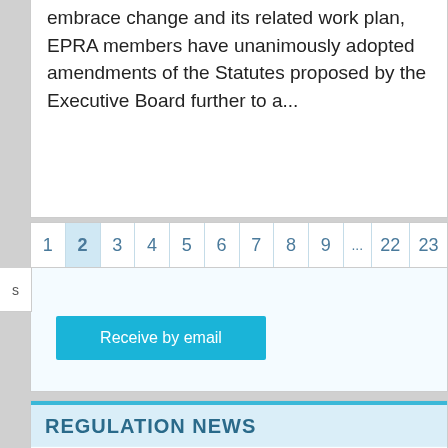embrace change and its related work plan, EPRA members have unanimously adopted amendments of the Statutes proposed by the Executive Board further to a...
1 2 3 4 5 6 7 8 9 ... 22 23
s
Receive by email
REGULATION NEWS
New EU group of regulators of Audiovisual Media Services established
posted on 11 February, 2014   (public)
New EU group of regulators of Audiovisual Media Services established On 3 February 2014, the